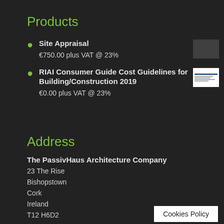Products
Site Appraisal
€750.00 plus VAT @ 23%
RIAI Consumer Guide Cost Guidelines for Building/Construction 2019
€0.00 plus VAT @ 23%
Address
The PassivHaus Architecture Company
23 The Rise
Bishopstown
Cork
Ireland
T12 H6D2
Cookies Policy